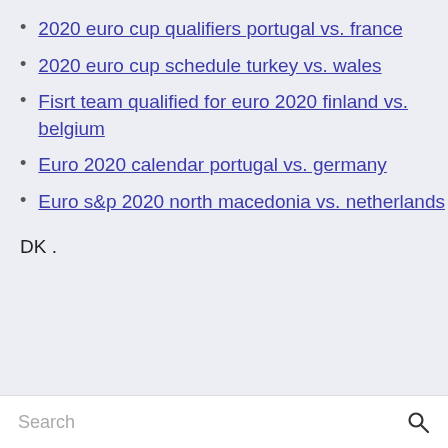2020 euro cup qualifiers portugal vs. france
2020 euro cup schedule turkey vs. wales
Fisrt team qualified for euro 2020 finland vs. belgium
Euro 2020 calendar portugal vs. germany
Euro s&p 2020 north macedonia vs. netherlands
DK .
Search